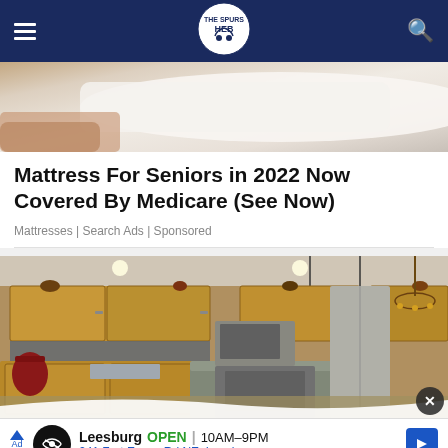The Spurs Web navigation bar with logo
[Figure (photo): Close-up photo of a white mattress/pillow, partially visible at top of page]
Mattress For Seniors in 2022 Now Covered By Medicare (See Now)
Mattresses | Search Ads | Sponsored
[Figure (photo): Kitchen interior photo showing wooden cabinets, stainless steel appliances, granite island countertop with pendant lights and chandelier]
Leesburg OPEN 10AM–9PM 241 Fort Evans Rd NE, Leesburg